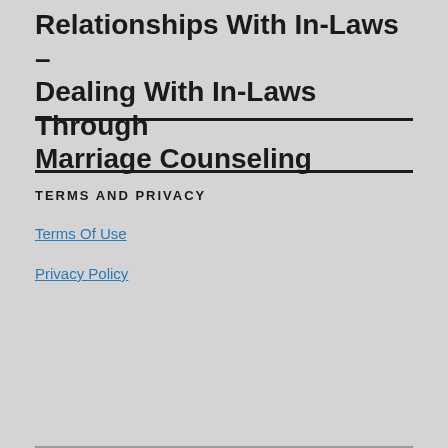Relationships With In-Laws – Dealing With In-Laws Through Marriage Counseling
TERMS AND PRIVACY
Terms Of Use
Privacy Policy